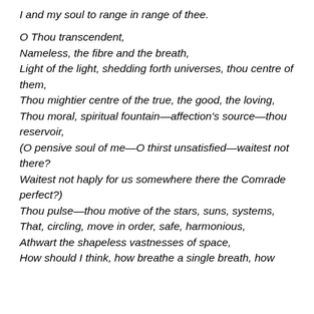I and my soul to range in range of thee.

O Thou transcendent,
Nameless, the fibre and the breath,
Light of the light, shedding forth universes, thou centre of them,
Thou mightier centre of the true, the good, the loving,
Thou moral, spiritual fountain—affection's source—thou reservoir,
(O pensive soul of me—O thirst unsatisfied—waitest not there?
Waitest not haply for us somewhere there the Comrade perfect?)
Thou pulse—thou motive of the stars, suns, systems,
That, circling, move in order, safe, harmonious,
Athwart the shapeless vastnesses of space,
How should I think, how breathe a single breath, how